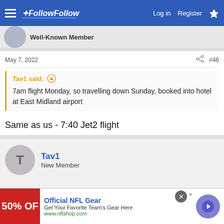FollowFollow — Log in  Register
Well-Known Member
May 7, 2022  #46
Tav1 said: ↑
7am flight Monday, so travelling down Sunday, booked into hotel at East Midland airport
Same as us - 7:40 Jet2 flight
Tav1
New Member
[Figure (other): Advertisement banner: Official NFL Gear, Get Your Favorite Team's Gear Here, www.nflshop.com, 50% OFF red banner]